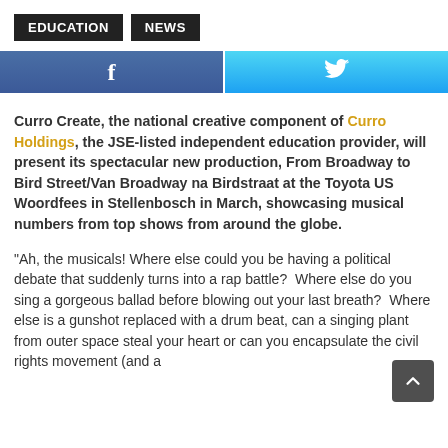EDUCATION   NEWS
[Figure (other): Social share buttons: Facebook (dark blue with f icon) and Twitter (light blue with bird icon)]
Curro Create, the national creative component of Curro Holdings, the JSE-listed independent education provider, will present its spectacular new production, From Broadway to Bird Street/Van Broadway na Birdstraat at the Toyota US Woordfees in Stellenbosch in March, showcasing musical numbers from top shows from around the globe.
“Ah, the musicals! Where else could you be having a political debate that suddenly turns into a rap battle?  Where else do you sing a gorgeous ballad before blowing out your last breath?  Where else is a gunshot replaced with a drum beat, can a singing plant from outer space steal your heart or can you encapsulate the civil rights movement (and a